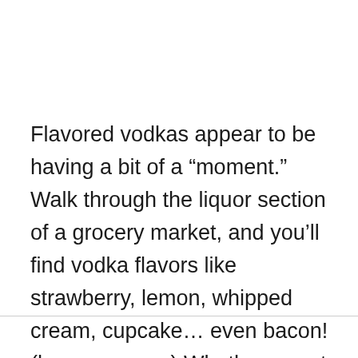Flavored vodkas appear to be having a bit of a “moment.” Walk through the liquor section of a grocery market, and you’ll find vodka flavors like strawberry, lemon, whipped cream, cupcake… even bacon! (have mercy…) Whether or not you wish to experiment with the bounty of new vodka flavors, one thing is for certain – people are becoming more and more creative with their cocktails.